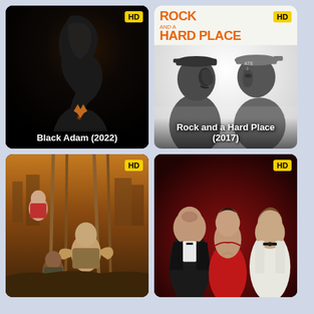[Figure (photo): Movie poster for Black Adam (2022) - dark silhouette of a person with amber glow on chest against black background. HD badge in top right corner. Title text at bottom.]
[Figure (photo): Movie poster for Rock and a Hard Place (2017) - black and white photo of two men facing each other wearing caps, orange title text at top reading ROCK AND A HARD PLACE. HD badge in top right corner. Title text at bottom.]
[Figure (photo): Movie poster for Jumanji - adventure cast hanging from ropes with dramatic sky background. HD badge in top right corner.]
[Figure (photo): Movie poster for Red Notice - three actors in formal wear against red background. HD badge in top right corner.]